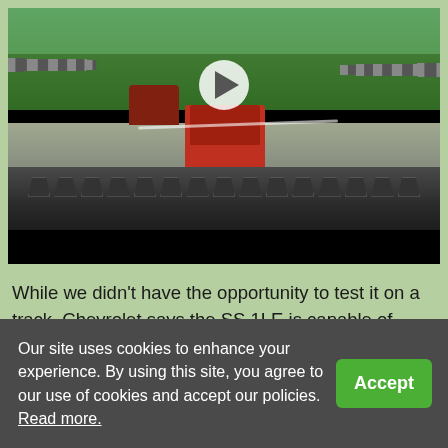[Figure (photo): A dashcam-style video screenshot showing a view from inside a car driving on a road. Red truck visible ahead, green trees on both sides, guardrails visible. Dashboard visible in lower portion. A play button overlay is visible in the center.]
While we didn't have the opportunity to test it on a track, Chevrolet says the SS 1LE is capable of more than 1g cornering – and we believe them. We drove our tester nearly 200 miles on a variety of
Our site uses cookies to enhance your experience. By using this site, you agree to our use of cookies and accept our policies. Read more.